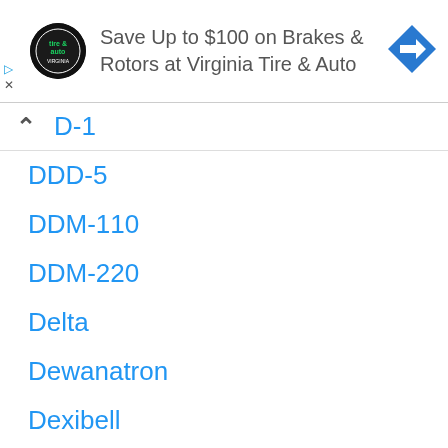[Figure (logo): Virginia Tire & Auto advertisement banner with circular logo, text 'Save Up to $100 on Brakes & Rotors at Virginia Tire & Auto', and a blue diamond navigation icon]
D-1
DDD-5
DDM-110
DDM-220
Delta
Dewanatron
Dexibell
Division 6
DK Synergy
DK600
DK70